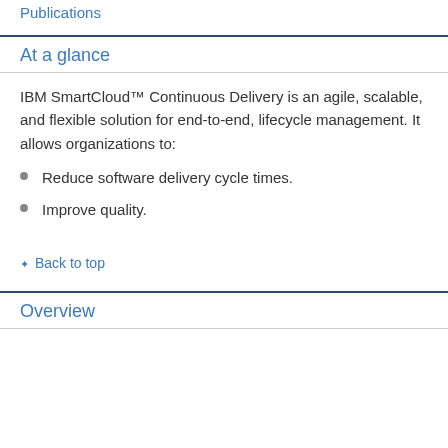Publications
At a glance
IBM SmartCloud™ Continuous Delivery is an agile, scalable, and flexible solution for end-to-end, lifecycle management. It allows organizations to:
Reduce software delivery cycle times.
Improve quality.
↑ Back to top
Overview